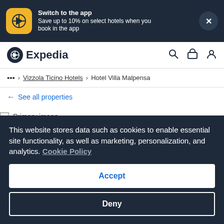[Figure (screenshot): Expedia app promotion banner with yellow app icon, text about switching to app, and close button]
Expedia
... > Vizzola Ticino Hotels > Hotel Villa Malpensa
← See all properties
[Figure (photo): Primary image placeholder]
This website stores data such as cookies to enable essential site functionality, as well as marketing, personalization, and analytics. Cookie Policy
Accept
Deny